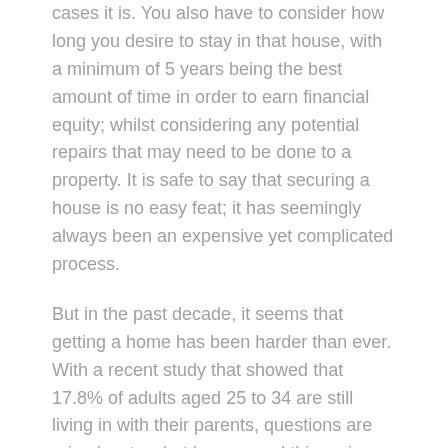cases it is. You also have to consider how long you desire to stay in that house, with a minimum of 5 years being the best amount of time in order to earn financial equity; whilst considering any potential repairs that may need to be done to a property. It is safe to say that securing a house is no easy feat; it has seemingly always been an expensive yet complicated process.
But in the past decade, it seems that getting a home has been harder than ever. With a recent study that showed that 17.8% of adults aged 25 to 34 are still living in with their parents, questions are raised as to what has caused this major increase in individuals not leaving their family homes? There are many reasons that have contributed to people's inability to buy a house, one of them being that the average house price in the UK was estimated to be £256,000